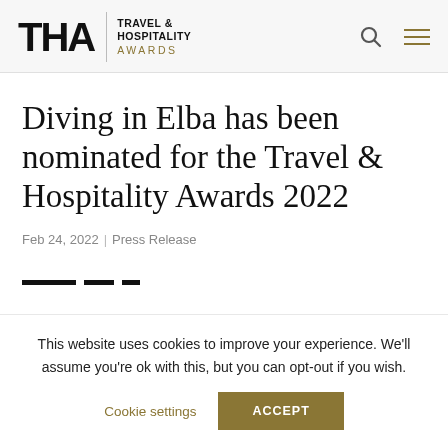THA | TRAVEL & HOSPITALITY AWARDS
Diving in Elba has been nominated for the Travel & Hospitality Awards 2022
Feb 24, 2022 | Press Release
This website uses cookies to improve your experience. We'll assume you're ok with this, but you can opt-out if you wish.
Cookie settings | ACCEPT